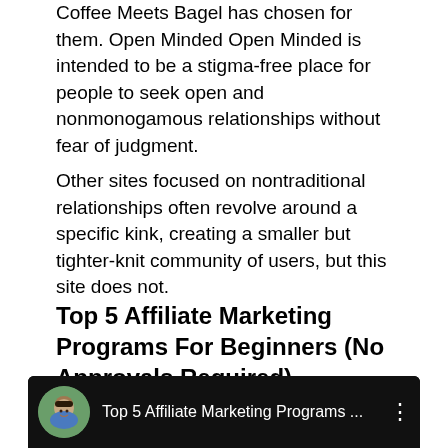Coffee Meets Bagel has chosen for them. Open Minded Open Minded is intended to be a stigma-free place for people to seek open and nonmonogamous relationships without fear of judgment.
Other sites focused on nontraditional relationships often revolve around a specific kink, creating a smaller but tighter-knit community of users, but this site does not.
Top 5 Affiliate Marketing Programs For Beginners (No Approvals Required)
[Figure (screenshot): Embedded YouTube video thumbnail showing a man's avatar circle and the title 'Top 5 Affiliate Marketing Programs ...' with a three-dot menu icon, on a black background]